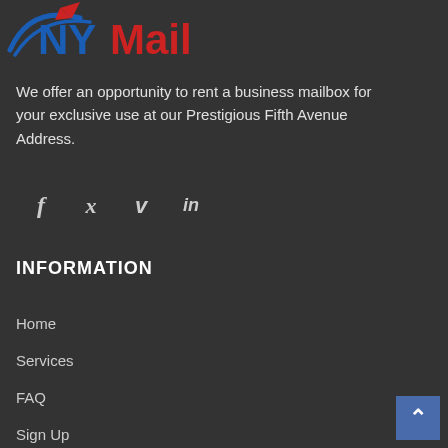[Figure (logo): NYMail logo with blue swoosh/bird graphic on left, 'NY' in blue bold text and 'Mail' in red bold text]
We offer an opportunity to rent a business mailbox for your exclusive use at our Prestigious Fifth Avenue Address.
[Figure (infographic): Social media icons: Facebook (f), Twitter (bird/t), Vimeo (v), LinkedIn (in)]
INFORMATION
Home
Services
FAQ
Sign Up
Change Auto Pay Method
Contact Us